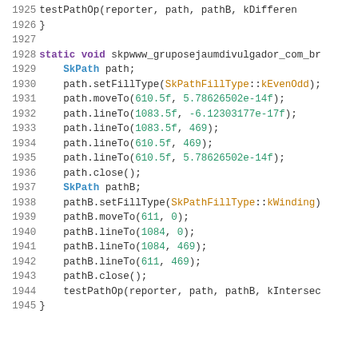[Figure (screenshot): Source code listing in C++ showing lines 1925–1945 with syntax highlighting. Lines include testPathOp call, closing brace, a static void function, SkPath and SkPathB operations with numeric arguments, and a testPathOp call.]